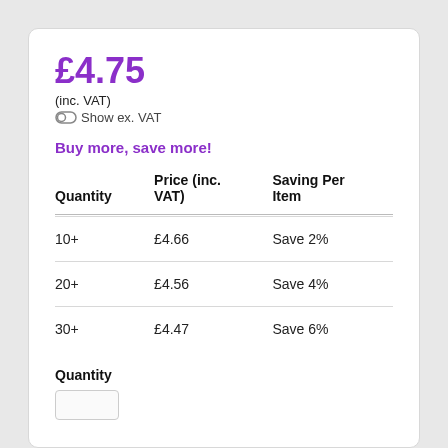£4.75
(inc. VAT)
Show ex. VAT
Buy more, save more!
| Quantity | Price (inc. VAT) | Saving Per Item |
| --- | --- | --- |
| 10+ | £4.66 | Save 2% |
| 20+ | £4.56 | Save 4% |
| 30+ | £4.47 | Save 6% |
Quantity